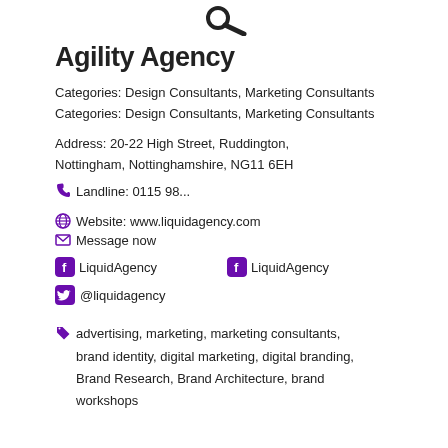[Figure (logo): Magnifying glass icon at top center]
Agility Agency
Categories: Design Consultants, Marketing Consultants
Categories: Design Consultants, Marketing Consultants
Address: 20-22 High Street, Ruddington, Nottingham, Nottinghamshire, NG11 6EH
Landline: 0115 98...
Website: www.liquidagency.com
Message now
LiquidAgency   LiquidAgency
@liquidagency
advertising, marketing, marketing consultants, brand identity, digital marketing, digital branding, Brand Research, Brand Architecture, brand workshops